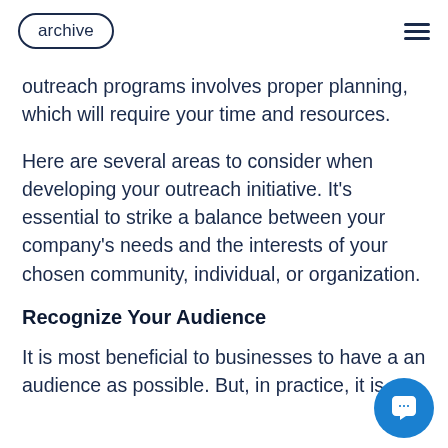archive
outreach programs involves proper planning, which will require your time and resources.
Here are several areas to consider when developing your outreach initiative. It's essential to strike a balance between your company's needs and the interests of your chosen community, individual, or organization.
Recognize Your Audience
It is most beneficial to businesses to have a an audience as possible. But, in practice, it is